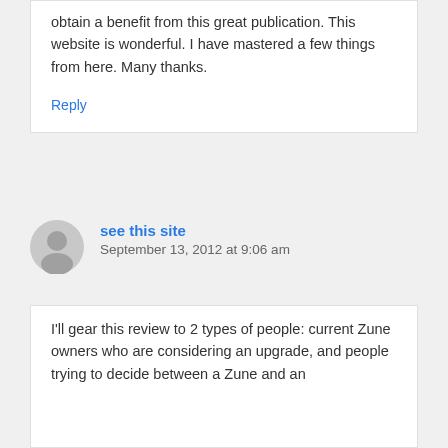obtain a benefit from this great publication. This website is wonderful. I have mastered a few things from here. Many thanks.
Reply
see this site
September 13, 2012 at 9:06 am
I'll gear this review to 2 types of people: current Zune owners who are considering an upgrade, and people trying to decide between a Zune and an